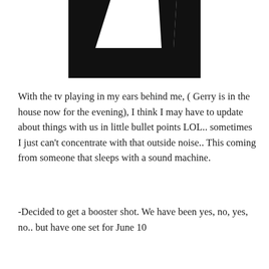[Figure (illustration): Black and white graphic showing a stylized shape — a black rectangular frame with a white trapezoidal cutout in the center, partially cropped at the top of the page.]
With the tv playing in my ears behind me, ( Gerry is in the house now for the evening), I think I may have to update about things with us in little bullet points LOL.. sometimes I just can't concentrate with that outside noise.. This coming from someone that sleeps with a sound machine.
-Decided to get a booster shot. We have been yes, no, yes, no.. but have one set for June 10